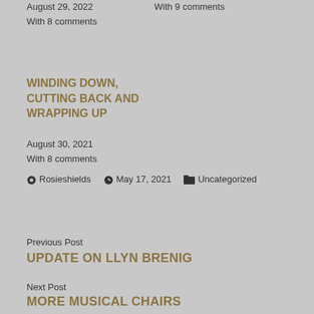August 29, 2022
With 8 comments
With 9 comments
WINDING DOWN, CUTTING BACK AND WRAPPING UP
August 30, 2021
With 8 comments
Rosieshields  May 17, 2021  Uncategorized
Previous Post
UPDATE ON LLYN BRENIG
Next Post
MORE MUSICAL CHAIRS